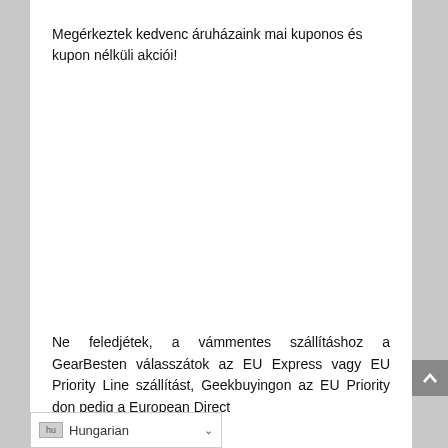Megérkeztek kedvenc áruházaink mai kuponos és kupon nélküli akciói!
Ne feledjétek, a vámmentes szállításhoz a GearBesten válasszátok az EU Express vagy EU Priority Line szállítást, Geekbuyingon az EU Priority don pedig a European Direct